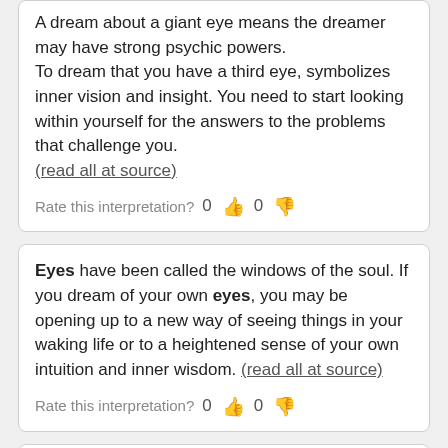Eye / Eyes
A dream about a giant eye means the dreamer may have strong psychic powers.
To dream that you have a third eye, symbolizes inner vision and insight. You need to start looking within yourself for the answers to the problems that challenge you.
(read all at source)
Rate this interpretation? 0 👍 0 👎
Eyes have been called the windows of the soul. If you dream of your own eyes, you may be opening up to a new way of seeing things in your waking life or to a heightened sense of your own intuition and inner wisdom. (read all at source)
Rate this interpretation? 0 👍 0 👎
With eyes still closed, think about the